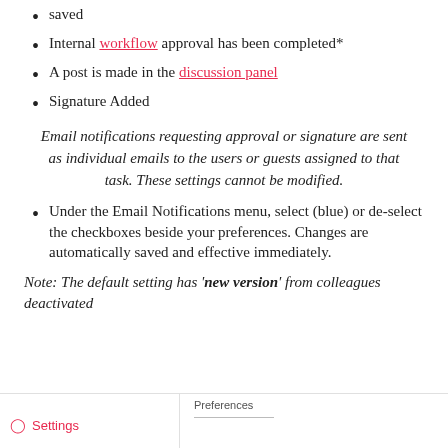saved
Internal workflow approval has been completed*
A post is made in the discussion panel
Signature Added
Email notifications requesting approval or signature are sent as individual emails to the users or guests assigned to that task. These settings cannot be modified.
Under the Email Notifications menu, select (blue) or de-select the checkboxes beside your preferences. Changes are automatically saved and effective immediately.
Note: The default setting has 'new version' from colleagues deactivated
[Figure (screenshot): Screenshot showing Settings and Preferences panel UI]